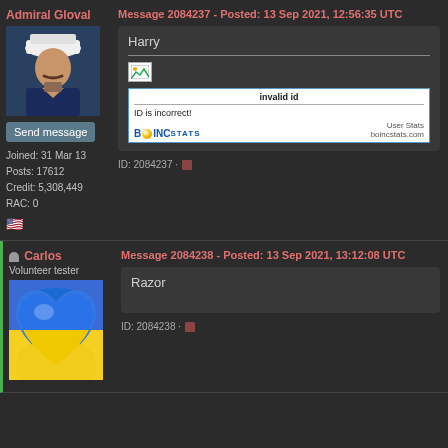Admiral Gloval
[Figure (photo): Avatar of Admiral Gloval - animated character in military uniform with white cap]
Send message
Joined: 31 Mar 13
Posts: 17612
Credit: 5,308,449
RAC: 0
Message 2084237 - Posted: 13 Sep 2021, 12:56:35 UTC
Harry
[Figure (screenshot): BOINC stats widget showing invalid id error - ID is incorrect!]
ID: 2084237 ·
Carlos
Volunteer tester
[Figure (illustration): Blue and yellow Ukraine heart emoji image used as avatar]
Message 2084238 - Posted: 13 Sep 2021, 13:12:08 UTC
Razor
ID: 2084238 ·